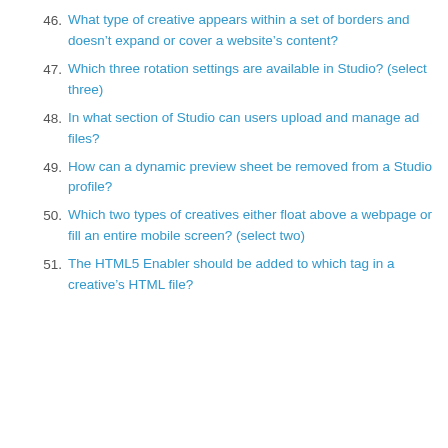46. What type of creative appears within a set of borders and doesn't expand or cover a website's content?
47. Which three rotation settings are available in Studio? (select three)
48. In what section of Studio can users upload and manage ad files?
49. How can a dynamic preview sheet be removed from a Studio profile?
50. Which two types of creatives either float above a webpage or fill an entire mobile screen? (select two)
51. The HTML5 Enabler should be added to which tag in a creative's HTML file?